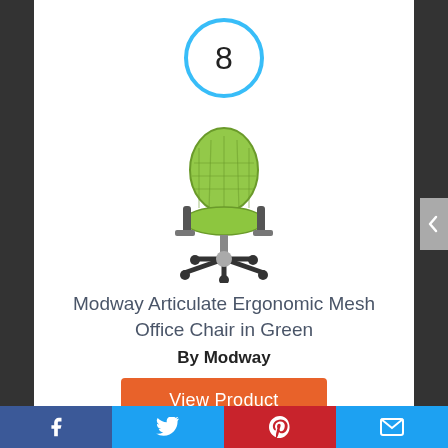8
[Figure (photo): Green ergonomic mesh office chair (Modway Articulate) with adjustable armrests and black base on white background]
Modway Articulate Ergonomic Mesh Office Chair in Green
By Modway
View Product
7.2